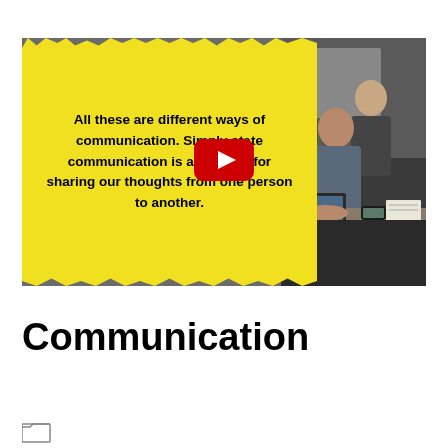[Figure (screenshot): Video thumbnail showing a yellow speech-bubble background with bold text about communication, overlapping with a photo of people working together at a table, and a YouTube play button in the center.]
Communication